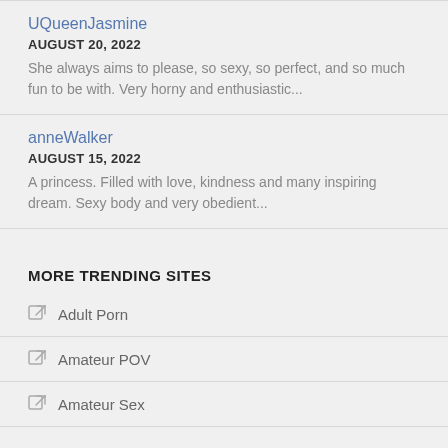UQueenJasmine
AUGUST 20, 2022
She always aims to please, so sexy, so perfect, and so much fun to be with. Very horny and enthusiastic...
anneWalker
AUGUST 15, 2022
A princess. Filled with love, kindness and many inspiring dream. Sexy body and very obedient...
MORE TRENDING SITES
Adult Porn
Amateur POV
Amateur Sex